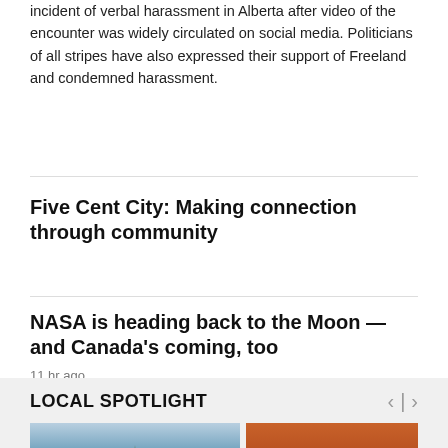incident of verbal harassment in Alberta after video of the encounter was widely circulated on social media. Politicians of all stripes have also expressed their support of Freeland and condemned harassment.
Five Cent City: Making connection through community
NASA is heading back to the Moon — and Canada's coming, too
11 hr ago
LOCAL SPOTLIGHT
[Figure (photo): Two thumbnail images side by side: left shows a tree silhouette against a blue-grey sky; right shows an orange-red sunset or landscape.]